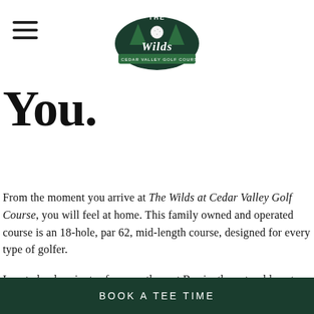[Figure (logo): The Wilds at Cedar Valley Golf Course logo — green emblem with trees and a golf ball]
You.
From the moment you arrive at The Wilds at Cedar Valley Golf Course, you will feel at home. This family owned and operated course is an 18-hole, par 62, mid-length course, designed for every type of golfer.
Located only minutes from south-west Barrie, the natural beauty and wildlife make it seem like you have traveled to cottage country.
BOOK A TEE TIME